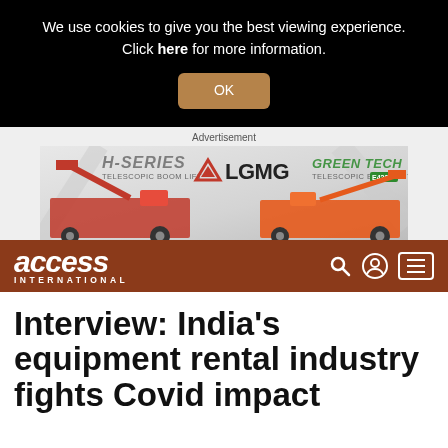We use cookies to give you the best viewing experience. Click here for more information.
OK
[Figure (infographic): LGMG advertisement showing H-Series and Green Tech Telescopic Boom Lifts, two red construction vehicles on a grey background with LGMG logo]
access INTERNATIONAL
Interview: India's equipment rental industry fights Covid impact